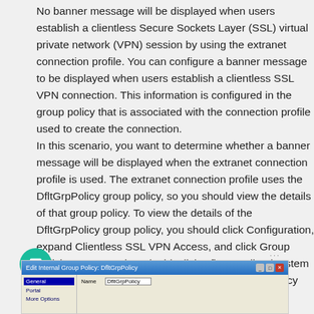No banner message will be displayed when users establish a clientless Secure Sockets Layer (SSL) virtual private network (VPN) session by using the extranet connection profile. You can configure a banner message to be displayed when users establish a clientless SSL VPN connection. This information is configured in the group policy that is associated with the connection profile used to create the connection.
In this scenario, you want to determine whether a banner message will be displayed when the extranet connection profile is used. The extranet connection profile uses the DfltGrpPolicy group policy, so you should view the details of that group policy. To view the details of the DfltGrpPolicy group policy, you should click Configuration, expand Clientless SSL VPN Access, and click Group Policies. You can then doubleclick DfltGrpPolicy (System Default), which will open the Edit Internal Group Policy dialog box, which is shown in the following exhibit:
[Figure (screenshot): Edit Internal Group Policy: DfltGrpPolicy dialog box showing the General tab with Name field containing DfltGrpPolicy, and sidebar items including General, Portal, More Options]